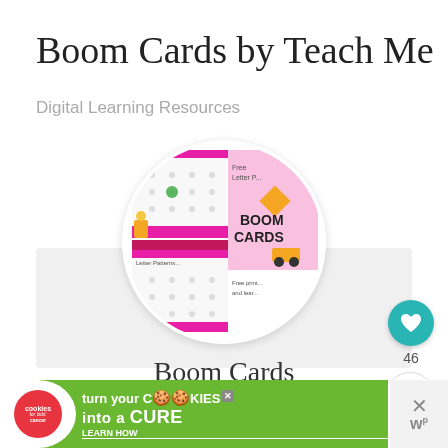Boom Cards by Teach Me
Digital Learning Resources
[Figure (photo): Circular profile image showing Boom Cards educational materials with pink and black chevron borders, letter practice cards, and a construction theme with 'BOOM CARDS' text]
Boom Cards
Photo Credit: wow.boomlearning.com
[Figure (infographic): Green advertisement banner: 'turn your COOKIES into a CURE LEARN HOW' with Cookies for Kids Cancer logo. Close button X on right side with Wattpad 'w' logo.]